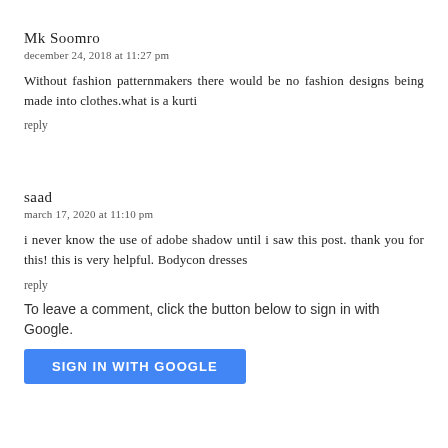Mk Soomro
december 24, 2018 at 11:27 pm
Without fashion patternmakers there would be no fashion designs being made into clothes.what is a kurti
reply
saad
march 17, 2020 at 11:10 pm
i never know the use of adobe shadow until i saw this post. thank you for this! this is very helpful. Bodycon dresses
reply
To leave a comment, click the button below to sign in with Google.
SIGN IN WITH GOOGLE